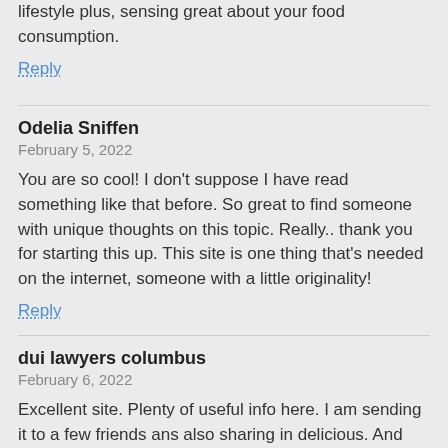lifestyle plus, sensing great about your food consumption.
Reply
Odelia Sniffen
February 5, 2022
You are so cool! I don't suppose I have read something like that before. So great to find someone with unique thoughts on this topic. Really.. thank you for starting this up. This site is one thing that's needed on the internet, someone with a little originality!
Reply
dui lawyers columbus
February 6, 2022
Excellent site. Plenty of useful info here. I am sending it to a few friends ans also sharing in delicious. And obviously, thanks for your effort!
Reply